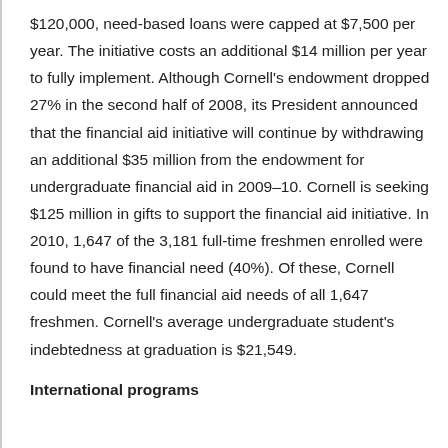$120,000, need-based loans were capped at $7,500 per year. The initiative costs an additional $14 million per year to fully implement. Although Cornell's endowment dropped 27% in the second half of 2008, its President announced that the financial aid initiative will continue by withdrawing an additional $35 million from the endowment for undergraduate financial aid in 2009–10. Cornell is seeking $125 million in gifts to support the financial aid initiative. In 2010, 1,647 of the 3,181 full-time freshmen enrolled were found to have financial need (40%). Of these, Cornell could meet the full financial aid needs of all 1,647 freshmen. Cornell's average undergraduate student's indebtedness at graduation is $21,549.
International programs